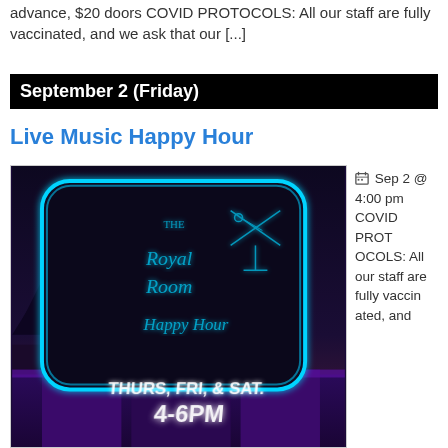advance, $20 doors COVID PROTOCOLS: All our staff are fully vaccinated, and we ask that our [...]
September 2 (Friday)
Live Music Happy Hour
[Figure (photo): Neon sign for The Royal Room Happy Hour with text THURS, FRI, & SAT. 4-6PM against a dark purple/blue night background]
Sep 2 @ 4:00 pm COVID PROTOCOLS: All our staff are fully vaccinated, and